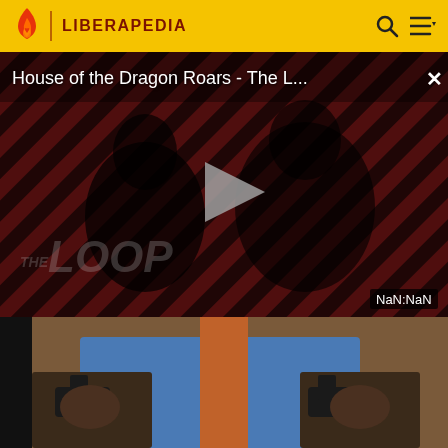LIBERAPEDIA
[Figure (screenshot): Video player showing 'House of the Dragon Roars - The L...' with diagonal red/dark stripe background, two dark figures visible, a play button in the center, 'THE LOOP' watermark text, and a 'NaN:NaN' time display in the bottom right corner. A close (X) button appears in the top right.]
[Figure (screenshot): Thumbnail strip showing a person in a blue denim vest holding guns in both hands, shown twice side by side.]